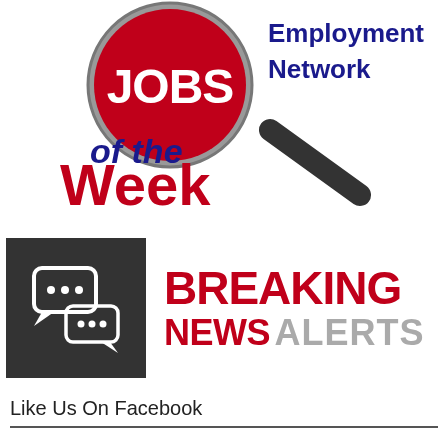[Figure (logo): Jobs of the Week Employment Network logo: a magnifying glass with 'JOBS' in white on a red circle, 'of the Week' in blue and red text, and 'Employment Network' in dark blue bold text to the upper right]
[Figure (logo): Breaking News Alerts logo: dark grey square with two white speech bubble icons on the left, and 'BREAKING NEWS ALERTS' text in bold red and grey on the right]
Like Us On Facebook